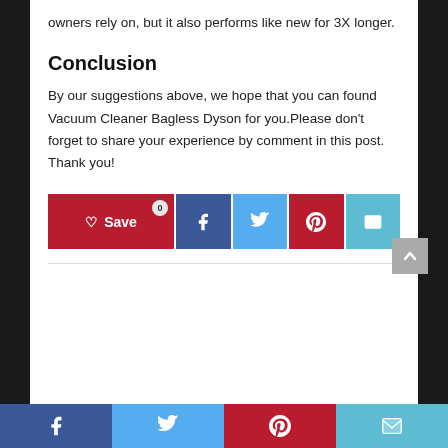owners rely on, but it also performs like new for 3X longer.
Conclusion
By our suggestions above, we hope that you can found Vacuum Cleaner Bagless Dyson for you.Please don’t forget to share your experience by comment in this post. Thank you!
[Figure (other): Social share buttons: Save (heart icon, red), Facebook (blue), Twitter (light blue), Pinterest (red), Email (teal). Count badge showing 0 on Save button.]
Footer social share bar with Facebook, Twitter, Pinterest, Email icons